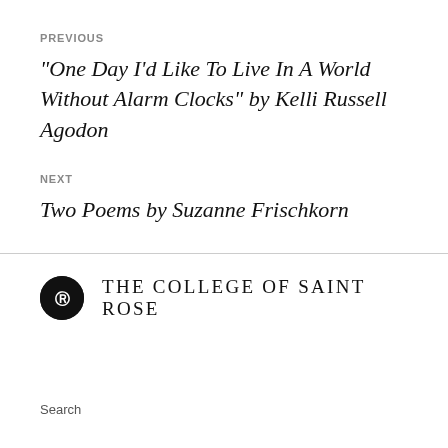PREVIOUS
“One Day I’d Like To Live In A World Without Alarm Clocks” by Kelli Russell Agodon
NEXT
Two Poems by Suzanne Frischkorn
[Figure (logo): The College of Saint Rose logo: black circle with 'PR' monogram in white, followed by text 'THE COLLEGE OF SAINT ROSE']
Search